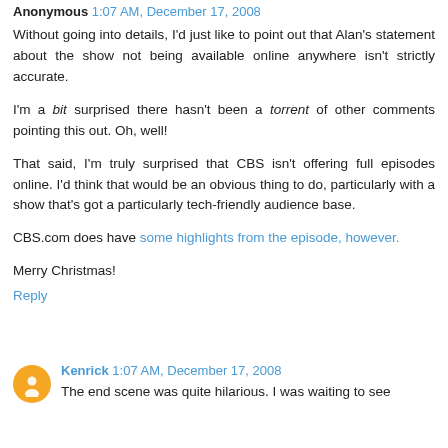Anonymous 1:07 AM, December 17, 2008
Without going into details, I'd just like to point out that Alan's statement about the show not being available online anywhere isn't strictly accurate.
I'm a bit surprised there hasn't been a torrent of other comments pointing this out. Oh, well!
That said, I'm truly surprised that CBS isn't offering full episodes online. I'd think that would be an obvious thing to do, particularly with a show that's got a particularly tech-friendly audience base.
CBS.com does have some highlights from the episode, however.
Merry Christmas!
Reply
Kenrick 1:07 AM, December 17, 2008
The end scene was quite hilarious. I was waiting to see